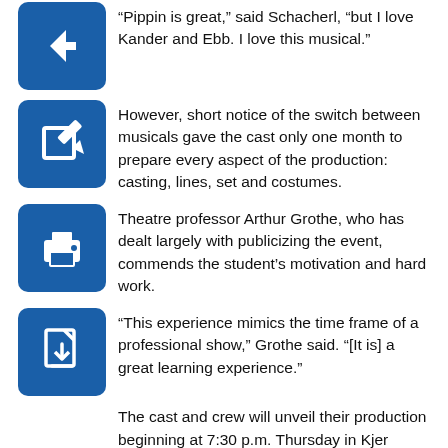“Pippin is great,” said Schacherl, “but I love Kander and Ebb. I love this musical.”
However, short notice of the switch between musicals gave the cast only one month to prepare every aspect of the production: casting, lines, set and costumes.
Theatre professor Arthur Grothe, who has dealt largely with publicizing the event, commends the student’s motivation and hard work.
“This experience mimics the time frame of a professional show,” Grothe said. “[It is] a great learning experience.”
The cast and crew will unveil their production beginning at 7:30 p.m. Thursday in Kjer Theatre.
Subsequent showings are Friday and Saturday at 7:30 p.m., March 2-5 at 7:30 p.m. and March 6 at 1:30 p.m.
Tickets are available online, through the service center or at the door.